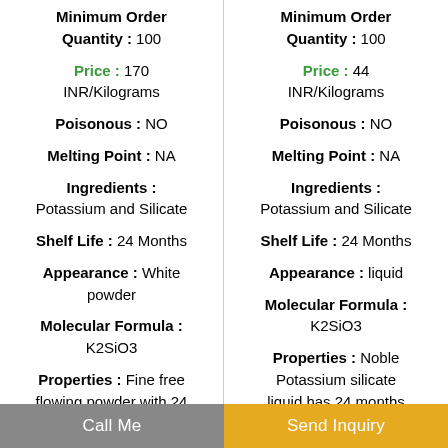Minimum Order Quantity : 100
Price : 170 INR/Kilograms
Poisonous : NO
Melting Point : NA
Ingredients : Potassium and Silicate
Shelf Life : 24 Months
Appearance : White powder
Molecular Formula : K2SiO3
Properties : Fine free flowing powder with 24
Minimum Order Quantity : 100
Price : 44 INR/Kilograms
Poisonous : NO
Melting Point : NA
Ingredients : Potassium and Silicate
Shelf Life : 24 Months
Appearance : liquid
Molecular Formula : K2SiO3
Properties : Noble Potassium silicate liquid has 24 months
Call Me
Send Inquiry